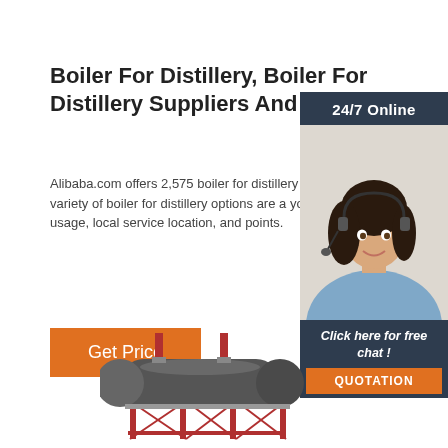Boiler For Distillery, Boiler For Distillery Suppliers And ...
Alibaba.com offers 2,575 boiler for distillery products. A wide variety of boiler for distillery options are available to you, such as usage, local service location, and key selling points.
[Figure (other): Orange 'Get Price' button]
[Figure (photo): Customer service representative with headset and '24/7 Online' label, with 'Click here for free chat!' text and orange QUOTATION button]
[Figure (photo): Industrial boiler/distillery equipment photo at bottom of page]